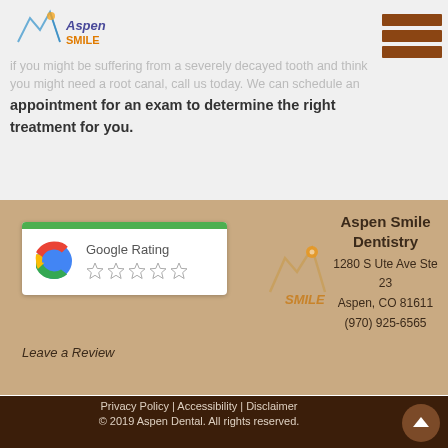[Figure (logo): Aspen Smile logo in navigation bar]
[Figure (other): Hamburger menu icon with brown horizontal bars]
if you might be suffering from a severely decayed tooth and think you might need a root canal, call us today. We can schedule an appointment for an exam to determine the right treatment for you.
Aspen Smile Dentistry
1280 S Ute Ave Ste 23
Aspen, CO 81611
(970) 925-6565
[Figure (other): Google Rating widget with green top bar, Google G logo, 'Google Rating' text, and 5 empty star rating]
Leave a Review
[Figure (logo): Aspen Smile logo centered in tan section]
Privacy Policy | Accessibility | Disclaimer
© 2019 Aspen Dental. All rights reserved.